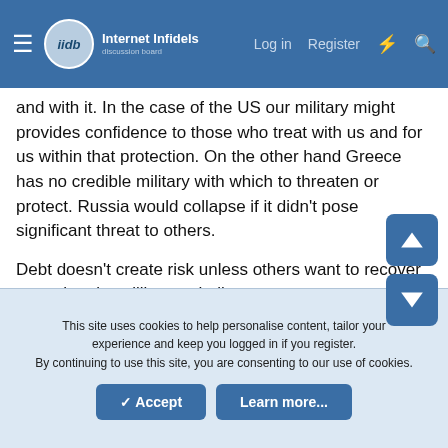Internet Infidels Discussion Board — Log in   Register
and with it. In the case of the US our military might provides confidence to those who treat with us and for us within that protection. On the other hand Greece has no credible military with which to threaten or protect. Russia would collapse if it didn't pose significant threat to others.
Debt doesn't create risk unless others want to recover enough to be willing to challenge us.
IOW it ain't gonna happen any time soon.
While working for navy we devised an algorithm through which F-14 pilots could see tactical advantage in airspeed and altitude. Potential energy is quite the thing.
This site uses cookies to help personalise content, tailor your experience and keep you logged in if you register. By continuing to use this site, you are consenting to our use of cookies.